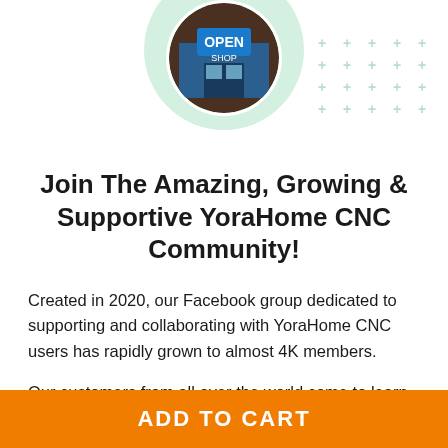[Figure (photo): Circular photo of a shop storefront with an open sign, on a light green circular background, with decorative plus/cross pattern in top right corner.]
Join The Amazing, Growing & Supportive YoraHome CNC Community!
Created in 2020, our Facebook group dedicated to supporting and collaborating with YoraHome CNC users has rapidly grown to almost 4K members.
Our customers from all over the world come to learn, share their amazing projects, win prizes and in return provide immense value to new users. It
ADD TO CART